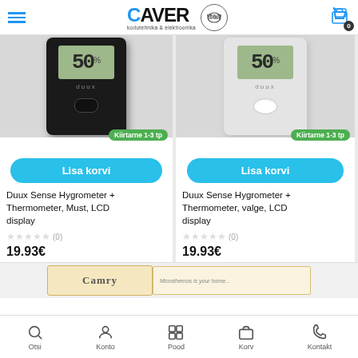CAVER kodutehnika & elektroonika
[Figure (photo): Duux Sense Hygrometer black device with LCD display showing 50% humidity]
[Figure (photo): Duux Sense Hygrometer white device with LCD display showing 50% humidity]
Kiirtarne 1-3 tp
Lisa korvi
Duux Sense Hygrometer + Thermometer, Must, LCD display
★★★★★ (0)
19.93€
Kiirtarne 1-3 tp
Lisa korvi
Duux Sense Hygrometer + Thermometer, valge, LCD display
★★★★★ (0)
19.93€
[Figure (photo): Camry product box partially visible at bottom]
Otsi | Konto | Pood | Korv | Kontakt